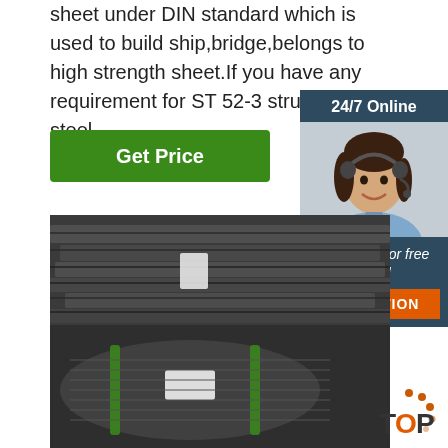sheet under DIN standard which is used to build ship,bridge,belongs to high strength sheet.If you have any requirement for ST 52-3 structure steel ...
[Figure (other): Green 'Get Price' button]
[Figure (other): 24/7 Online customer service widget with photo, 'Click here for free chat!' text, and orange QUOTATION button]
[Figure (photo): Steel wire coils stacked in a warehouse, bound with green straps]
[Figure (other): TOP navigation button with orange dots and bold text]